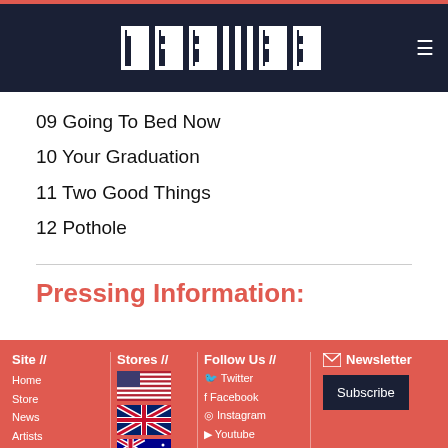RFE (logo navigation bar)
09 Going To Bed Now
10 Your Graduation
11 Two Good Things
12 Pothole
Pressing Information:
Site // Home, Store, News, Artists, Releases, Tour, Info/FAQ | Stores // US flag, UK flag, AU flag | Follow Us // Twitter, Facebook, Instagram, Youtube, Soundcloud, Apple Music, Spotify | Newsletter Subscribe